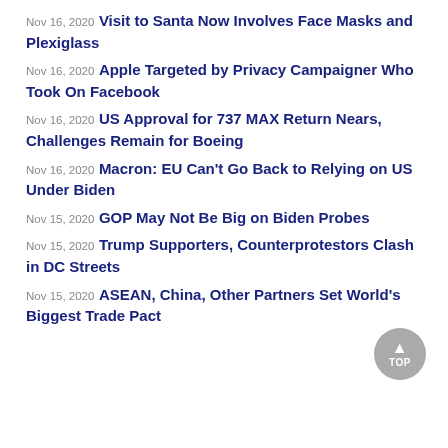Nov 16, 2020 Visit to Santa Now Involves Face Masks and Plexiglass
Nov 16, 2020 Apple Targeted by Privacy Campaigner Who Took On Facebook
Nov 16, 2020 US Approval for 737 MAX Return Nears, Challenges Remain for Boeing
Nov 16, 2020 Macron: EU Can't Go Back to Relying on US Under Biden
Nov 15, 2020 GOP May Not Be Big on Biden Probes
Nov 15, 2020 Trump Supporters, Counterprotestors Clash in DC Streets
Nov 15, 2020 ASEAN, China, Other Partners Set World's Biggest Trade Pact